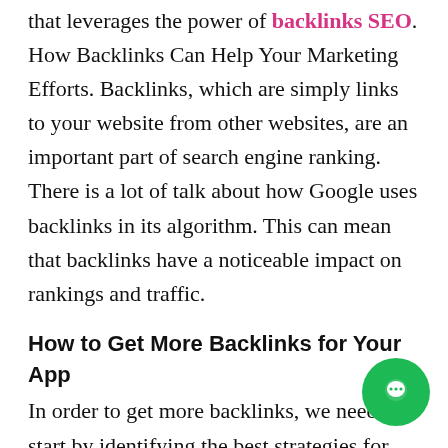that leverages the power of backlinks SEO. How Backlinks Can Help Your Marketing Efforts. Backlinks, which are simply links to your website from other websites, are an important part of search engine ranking. There is a lot of talk about how Google uses backlinks in its algorithm. This can mean that backlinks have a noticeable impact on rankings and traffic.
How to Get More Backlinks for Your App
In order to get more backlinks, we need to start by identifying the best strategies for link building. There are many methods out there, but some of the most popular strategies include: